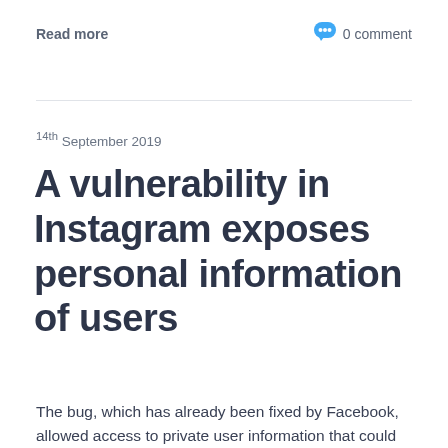Read more
0 comment
14th September 2019
A vulnerability in Instagram exposes personal information of users
The bug, which has already been fixed by Facebook, allowed access to private user information that could be